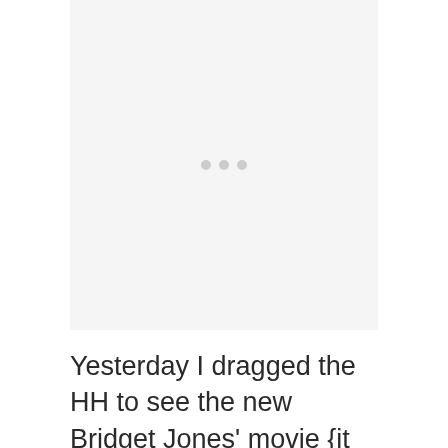[Figure (other): Large light gray placeholder image area with three small gray dots centered in the middle, indicating a loading or missing image state.]
Yesterday I dragged the HH to see the new Bridget Jones' movie {it was super cheesy, but cute}. The last movie I can remember seeing in a